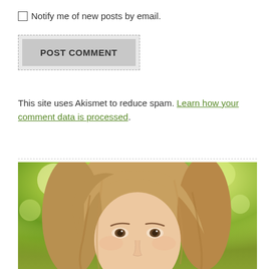Notify me of new posts by email.
POST COMMENT
This site uses Akismet to reduce spam. Learn how your comment data is processed.
[Figure (photo): Portrait photo of a woman with long blonde/light brown wavy hair, photographed outdoors against a blurred green leafy background. Only the upper half of her face and head are visible in this cropped view.]